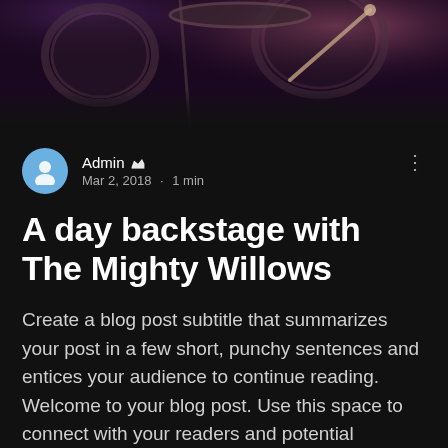[Figure (photo): Dark moody photo of drum kit on stage with pink/purple lighting from above]
Admin ♛
Mar 2, 2018 · 1 min
A day backstage with The Mighty Willows
Create a blog post subtitle that summarizes your post in a few short, punchy sentences and entices your audience to continue reading. Welcome to your blog post. Use this space to connect with your readers and potential customers in a way that's current and interesting. Thi… as an ongoing conversation where